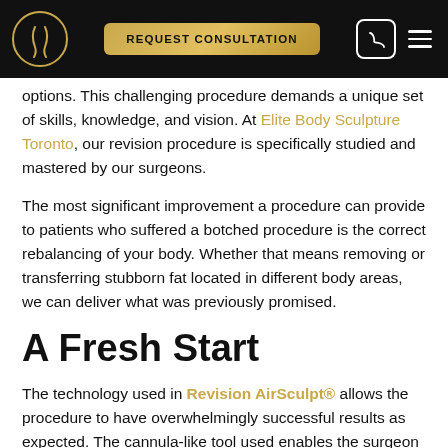REQUEST CONSULTATION
options. This challenging procedure demands a unique set of skills, knowledge, and vision. At Elite Body Sculpture Toronto, our revision procedure is specifically studied and mastered by our surgeons.
The most significant improvement a procedure can provide to patients who suffered a botched procedure is the correct rebalancing of your body. Whether that means removing or transferring stubborn fat located in different body areas, we can deliver what was previously promised.
A Fresh Start
The technology used in Revision AirSculpt® allows the procedure to have overwhelmingly successful results as expected. The cannula-like tool used enables the surgeon to be exact and precise, using